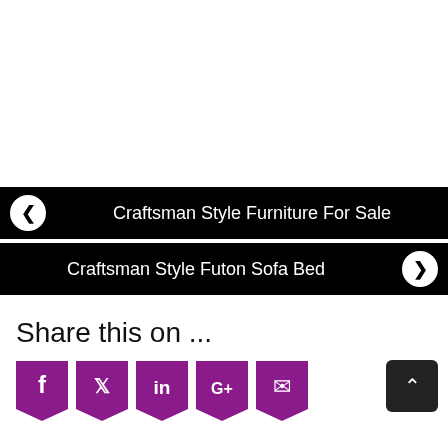Craftsman Style Furniture For Sale
Craftsman Style Futon Sofa Bed
Share this on ...
[Figure (other): Social share buttons: Facebook, Twitter, LinkedIn, Google+, Email — purple bookmark-shaped icons]